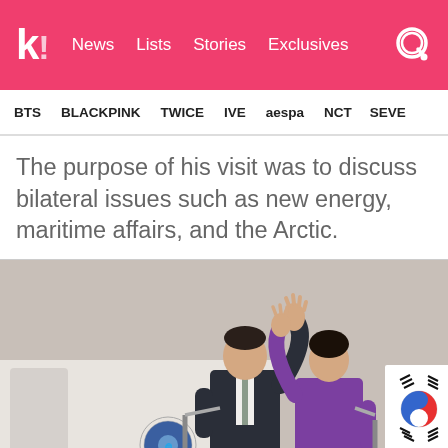k! News  Lists  Stories  Exclusives
BTS  BLACKPINK  TWICE  IVE  aespa  NCT  SEVE
The purpose of his visit was to discuss bilateral issues such as new energy, maritime affairs, and the Arctic.
[Figure (photo): Two people waving in front of a South Korean flag. Man in dark suit on the left, woman in purple outfit on the right. Presidential seal visible on the left side.]